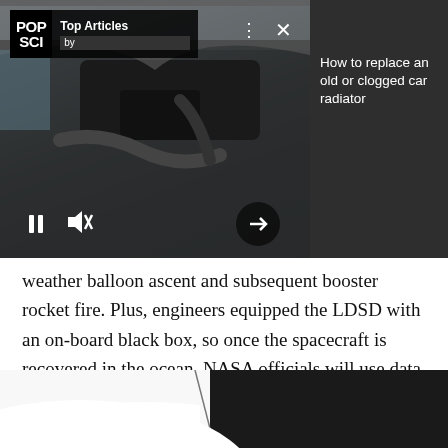POP SCI Top Articles by
How to replace an old or clogged car radiator
[Figure (photo): Car engine bay photo showing open hood with dark engine components visible]
weather balloon ascent and subsequent booster rocket fire. Plus, engineers equipped the LDSD with an on-board black box, so once the spacecraft is recovered in the ocean, NASA officials will use data gathered by that box to figure out what went wrong with the the parachute deployment and how to make the next iteration of the LDSD even better.
[Figure (photo): Bottom strip showing partial view of white vehicle with dark background]